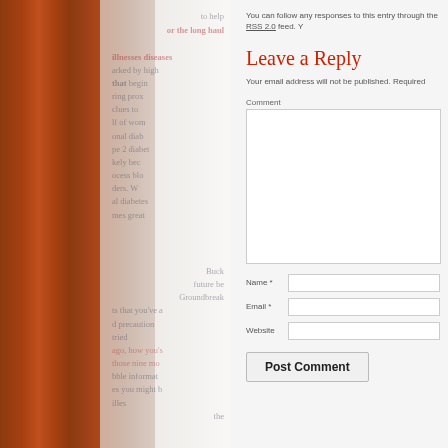You can follow any responses to this entry through the RSS 2.0 feed. Y
Leave a Reply
Your email address will not be published. Required
Comment
Name *
Email *
Website
Post Comment